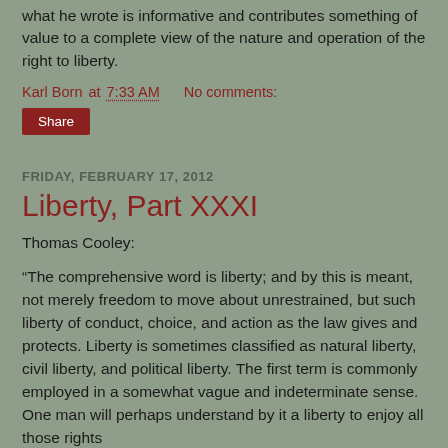what he wrote is informative and contributes something of value to a complete view of the nature and operation of the right to liberty.
Karl Born at 7:33 AM    No comments:
Share
FRIDAY, FEBRUARY 17, 2012
Liberty, Part XXXI
Thomas Cooley:
“The comprehensive word is liberty; and by this is meant, not merely freedom to move about unrestrained, but such liberty of conduct, choice, and action as the law gives and protects. Liberty is sometimes classified as natural liberty, civil liberty, and political liberty. The first term is commonly employed in a somewhat vague and indeterminate sense. One man will perhaps understand by it a liberty to enjoy all those rights